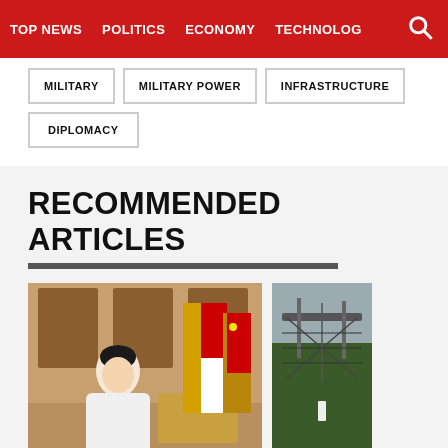TOP NEWS | POLITICS | ECONOMY | TECHNOLOG
MILITARY
MILITARY POWER
INFRASTRUCTURE
DIPLOMACY
RECOMMENDED ARTICLES
[Figure (photo): Woman in white jacket standing in front of Singapore and Chinese flags in an official room]
[Figure (photo): Outdoor military or industrial structure with netting, dark green foliage background]